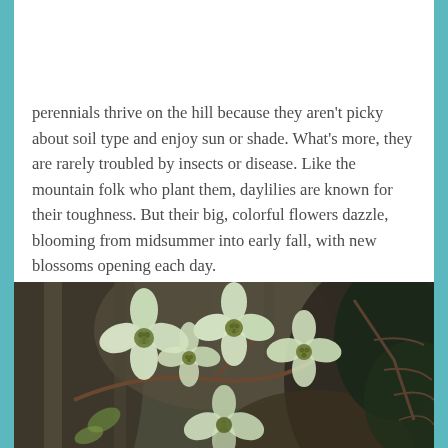[Figure (photo): Close-up photo of white flowers with dark green foliage in the background, partially cropped at top of page]
perennials thrive on the hill because they aren't picky about soil type and enjoy sun or shade. What's more, they are rarely troubled by insects or disease. Like the mountain folk who plant them, daylilies are known for their toughness. But their big, colorful flowers dazzle, blooming from midsummer into early fall, with new blossoms opening each day.
[Figure (photo): Close-up photo of dogwood flowers (white/cream petals with green centers) on branches against a blurred forest background]